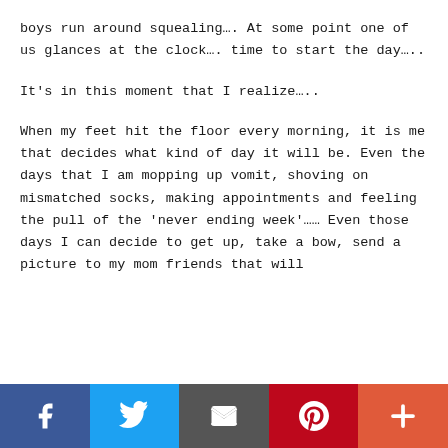boys run around squealing…. At some point one of us glances at the clock…. time to start the day…..
It's in this moment that I realize…..
When my feet hit the floor every morning, it is me that decides what kind of day it will be. Even the days that I am mopping up vomit, shoving on mismatched socks, making appointments and feeling the pull of the 'never ending week'…… Even those days I can decide to get up, take a bow, send a picture to my mom friends that will
[Figure (infographic): Social sharing bar with Facebook, Twitter, Email, Pinterest, and More (+) buttons]